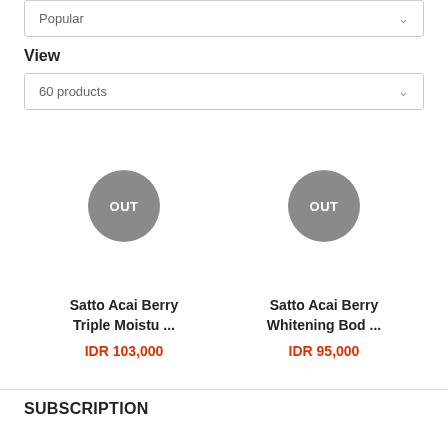Popular
View
60 products
[Figure (screenshot): Product card with OUT badge for Satto Acai Berry Triple Moistu ...]
Satto Acai Berry Triple Moistu ...
IDR 103,000
[Figure (screenshot): Product card with OUT badge for Satto Acai Berry Whitening Bod ...]
Satto Acai Berry Whitening Bod ...
IDR 95,000
SUBSCRIPTION